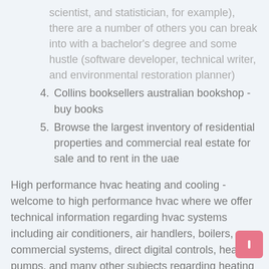scientist, and statistician, for example), there are a number of others you can break into with a bachelor's degree and some hustle (software developer, technical writer, and environmental restoration planner)
4. Collins booksellers australian bookshop - buy books
5. Browse the largest inventory of residential properties and commercial real estate for sale and to rent in the uae
High performance hvac heating and cooling - welcome to high performance hvac where we offer technical information regarding hvac systems including air conditioners, air handlers, boilers, commercial systems, direct digital controls, heat pumps, and many other subjects regarding heating ventilation and air conditioning. The best new ten-minute plays 2020 lawrence harbison. Selling & distribution sell your book in the order book review for high school online blurb bookstore, through amazon, or in the global retail network of over 38,000 retailers, libraries, and schools. Enjoy 20%-30% off your stay view details. Splice is the